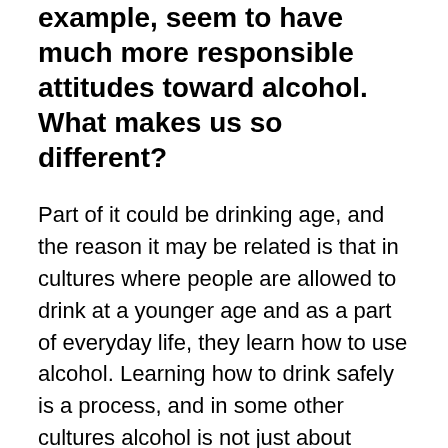example, seem to have much more responsible attitudes toward alcohol. What makes us so different?
Part of it could be drinking age, and the reason it may be related is that in cultures where people are allowed to drink at a younger age and as a part of everyday life, they learn how to use alcohol. Learning how to drink safely is a process, and in some other cultures alcohol is not just about getting hammered. They learn to drink moderately, they learn to drink as part of a meal, for example. And then it also raises the question: If you compare us to other nations, are American young people so self-conscious and so shy and lacking in social skills by comparison that they feel they need alcohol to navigate the social scene?